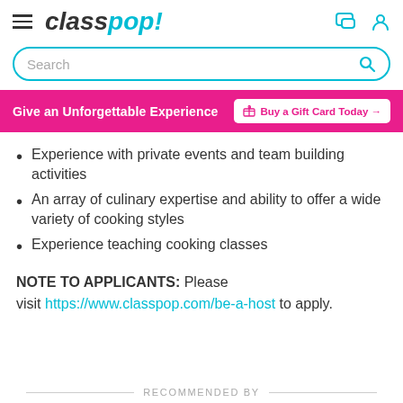classpop!
[Figure (other): Search bar with cyan border and search icon]
[Figure (infographic): Pink banner: Give an Unforgettable Experience | Buy a Gift Card Today →]
Experience with private events and team building activities
An array of culinary expertise and ability to offer a wide variety of cooking styles
Experience teaching cooking classes
NOTE TO APPLICANTS: Please visit https://www.classpop.com/be-a-host to apply.
RECOMMENDED BY